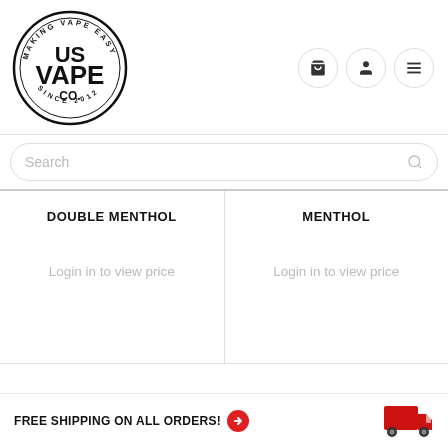[Figure (logo): US Vape Co. circular logo with text 'MAKING VAPE EASY' around top, 'US VAPE CO.' in center bold, 'SINCE 2012' around bottom]
Search
DOUBLE MENTHOL
Login in to view price
MENTHOL
Login in to view price
FREE SHIPPING ON ALL ORDERS!